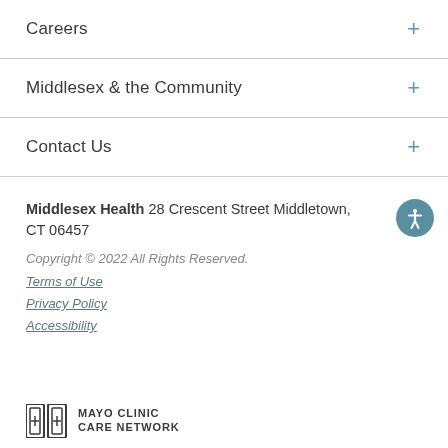Careers
Middlesex & the Community
Contact Us
Middlesex Health 28 Crescent Street Middletown, CT 06457
Copyright © 2022 All Rights Reserved.
Terms of Use
Privacy Policy
Accessibility
[Figure (logo): Mayo Clinic Care Network logo with shield icon]